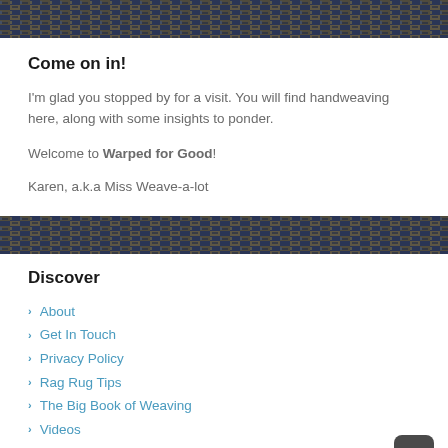[Figure (illustration): Woven textile/rug banner image in dark navy blue and gold/tan tones at top of page]
Come on in!
I'm glad you stopped by for a visit. You will find handweaving here, along with some insights to ponder.
Welcome to Warped for Good!
Karen, a.k.a Miss Weave-a-lot
[Figure (illustration): Woven textile/rug banner image in dark navy blue and gold/tan tones dividing sections]
Discover
About
Get In Touch
Privacy Policy
Rag Rug Tips
The Big Book of Weaving
Videos
Weaving Glossary